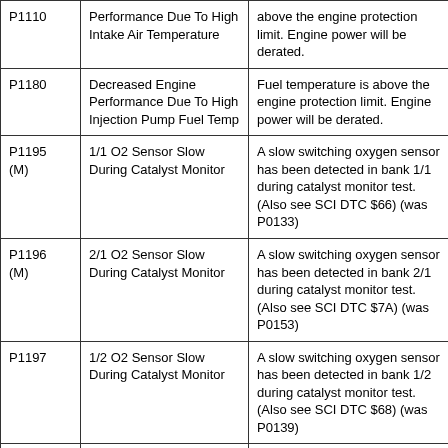| Code | Description | Explanation |
| --- | --- | --- |
| P1110 | Performance Due To High Intake Air Temperature | above the engine protection limit. Engine power will be derated. |
| P1180 | Decreased Engine Performance Due To High Injection Pump Fuel Temp | Fuel temperature is above the engine protection limit. Engine power will be derated. |
| P1195 (M) | 1/1 O2 Sensor Slow During Catalyst Monitor | A slow switching oxygen sensor has been detected in bank 1/1 during catalyst monitor test. (Also see SCI DTC $66) (was P0133) |
| P1196 (M) | 2/1 O2 Sensor Slow During Catalyst Monitor | A slow switching oxygen sensor has been detected in bank 2/1 during catalyst monitor test. (Also see SCI DTC $7A) (was P0153) |
| P1197 | 1/2 O2 Sensor Slow During Catalyst Monitor | A slow switching oxygen sensor has been detected in bank 1/2 during catalyst monitor test. (Also see SCI DTC $68) (was P0139) |
| P1198 | Radiator Temperature Sensor... | Radiator coolant temperature sensor input above the maximum... |